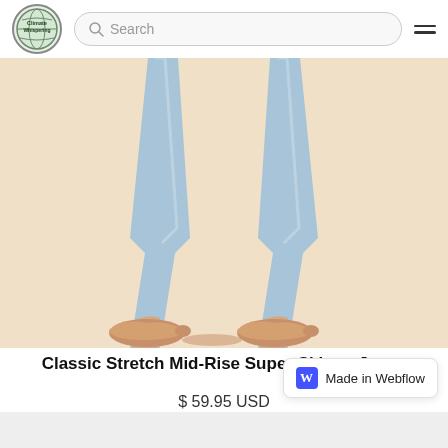[Figure (screenshot): Website header with Climate Whispering logo (circular badge with globe), a search bar, and hamburger menu icon]
[Figure (photo): Product photo showing the lower legs of a person wearing light blue skinny jeans and nude/tan flat ballet shoes against a beige/peach background]
Classic Stretch Mid-Rise Super Skinny Jeans
$ 59.95 USD
[Figure (logo): Made in Webflow badge with blue W logo]